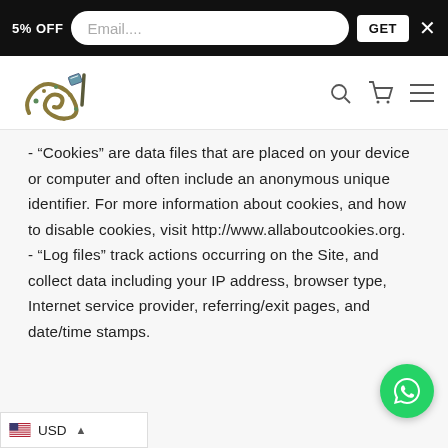5% OFF  Email....  GET  X
[Figure (logo): Arabic calligraphy logo with decorative elements]
- “Cookies” are data files that are placed on your device or computer and often include an anonymous unique identifier. For more information about cookies, and how to disable cookies, visit http://www.allaboutcookies.org.
- “Log files” track actions occurring on the Site, and collect data including your IP address, browser type, Internet service provider, referring/exit pages, and date/time stamps.
[Figure (logo): WhatsApp contact button (green circle with phone icon)]
USD